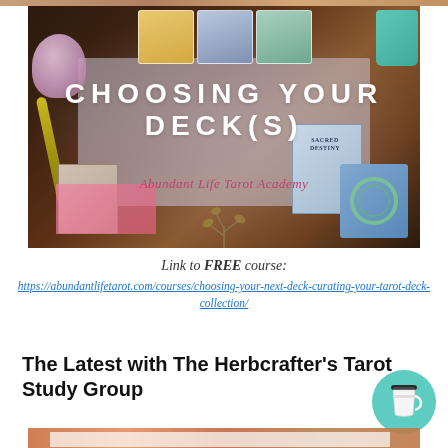[Figure (photo): Photo of tarot cards spread on a dark wooden table with crystals, a feather, and books. Overlaid text reads 'CHOOSING YOUR DECK(S)' in large white uppercase letters and 'Abundant Life Tarot Academy' in italic pink below.]
Link to FREE course:
https://abundantlifetarot.com/courses/choosing-your-next-deck-curating-your-tarot-deck-collection/
The Latest with The Herbcrafter's Tarot Study Group
[Figure (photo): Partial view of a bottom image strip showing tarot or herbcrafter related imagery with warm earthy tones.]